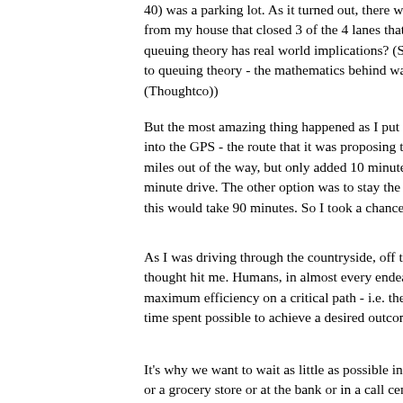40) was a parking lot. As it turned out, there was a from my house that closed 3 of the 4 lanes that mo queuing theory has real world implications? (See: to queuing theory - the mathematics behind waitin (Thoughtco))
But the most amazing thing happened as I put my into the GPS - the route that it was proposing took miles out of the way, but only added 10 minutes to minute drive. The other option was to stay the cou this would take 90 minutes. So I took a chance.
As I was driving through the countryside, off the m thought hit me. Humans, in almost every endeavo maximum efficiency on a critical path - i.e. the sho time spent possible to achieve a desired outcome.
It's why we want to wait as little as possible in a li or a grocery store or at the bank or in a call center